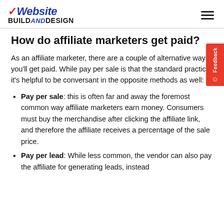Website BUILD AND DESIGN
How do affiliate marketers get paid?
As an affiliate marketer, there are a couple of alternative ways you'll get paid. While pay per sale is that the standard practice, it's helpful to be conversant in the opposite methods as well:
Pay per sale: this is often far and away the foremost common way affiliate marketers earn money. Consumers must buy the merchandise after clicking the affiliate link, and therefore the affiliate receives a percentage of the sale price.
Pay per lead: While less common, the vendor can also pay the affiliate for generating leads, instead